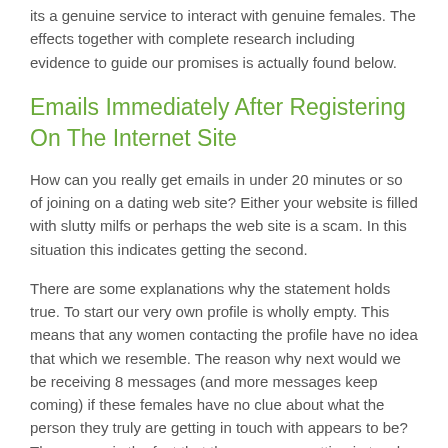its a genuine service to interact with genuine females. The effects together with complete research including evidence to guide our promises is actually found below.
Emails Immediately After Registering On The Internet Site
How can you really get emails in under 20 minutes or so of joining on a dating web site? Either your website is filled with slutty milfs or perhaps the web site is a scam. In this situation this indicates getting the second.
There are some explanations why the statement holds true. To start our very own profile is wholly empty. This means that any women contacting the profile have no idea that which we resemble. The reason why next would we be receiving 8 messages (and more messages keep coming) if these females have no clue about what the person they truly are getting in touch with appears to be? The answer is the fact that these women getting in touch with our very own profile commonly real.